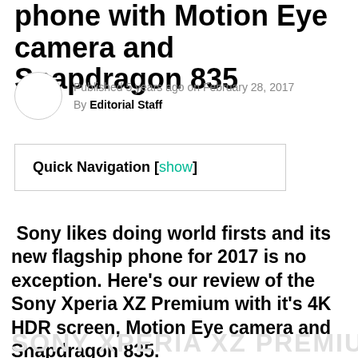phone with Motion Eye camera and Snapdragon 835
Published 5 years ago on February 28, 2017
By Editorial Staff
Quick Navigation [show]
Sony likes doing world firsts and its new flagship phone for 2017 is no exception. Here's our review of the Sony Xperia XZ Premium with it's 4K HDR screen, Motion Eye camera and Snapdragon 835.
SONY XPERIA XZ PREMIUM